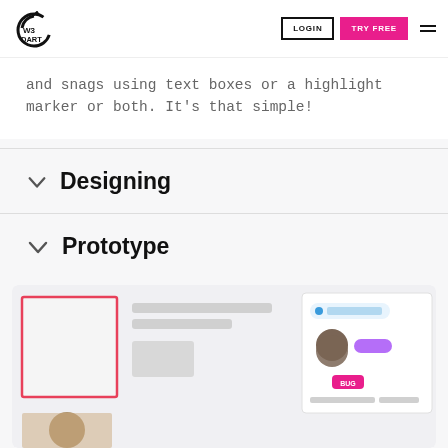W3 DART — LOGIN | TRY FREE
and snags using text boxes or a highlight marker or both. It's that simple!
Designing
Prototype
[Figure (screenshot): Screenshot of a web application UI mockup showing a profile card with a red-bordered image placeholder on the left, gray content blocks in the center, and a panel on the right with a blue 'Big Software' label, a person's photo, a purple pill badge, and a pink 'BUG' tag badge.]